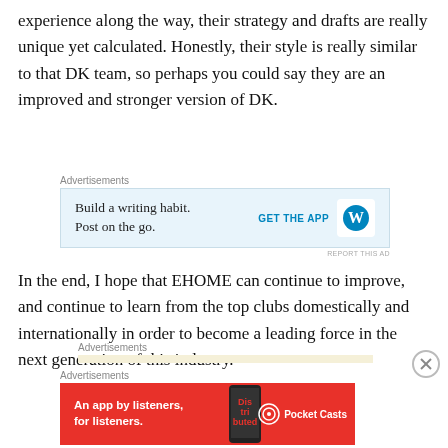experience along the way, their strategy and drafts are really unique yet calculated. Honestly, their style is really similar to that DK team, so perhaps you could say they are an improved and stronger version of DK.
[Figure (other): WordPress advertisement: 'Build a writing habit. Post on the go.' with GET THE APP button and WordPress logo]
In the end, I hope that EHOME can continue to improve, and continue to learn from the top clubs domestically and internationally in order to become a leading force in the next generation of this industry.
[Figure (other): Advertisements strip placeholder (tan/yellow background)]
[Figure (other): Pocket Casts advertisement: 'An app by listeners, for listeners.' with phone image and Pocket Casts logo on red background]